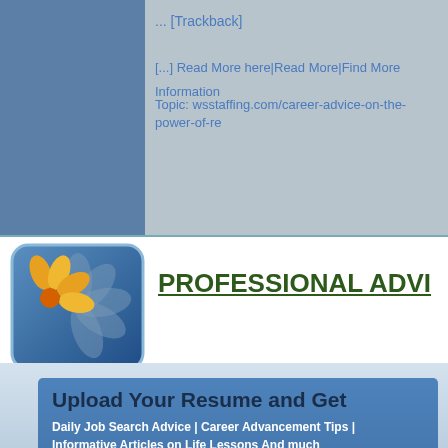... [Trackback]
[...] Read More here|Read More|Find More Information
Topic: wsstaffing.com/career-advice-on-the-power-of-r
[Figure (logo): Blue rounded square logo with flower/daisy graphic (orange and gray petals) and text PROFESSIONAL ADVI...]
PROFESSIONAL ADVI
Upload Your Resume and Get
Daily Job Search Advice | Career Advancement Tips | Informative Articles on Life Lessons And much more...
Email Address
Upload Resume   Choose File   No file chosen